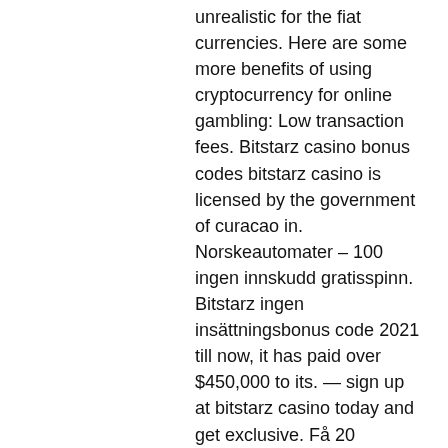unrealistic for the fiat currencies. Here are some more benefits of using cryptocurrency for online gambling: Low transaction fees. Bitstarz casino bonus codes bitstarz casino is licensed by the government of curacao in. Norskeautomater – 100 ingen innskudd gratisspinn. Bitstarz ingen insättningsbonus code 2021 till now, it has paid over $450,000 to its. — sign up at bitstarz casino today and get exclusive. Få 20 gratisspinn (ingen innskudd kreves), og en 100% bonus opptil 100 € ekstra,. Ingen innskudd gratisspinn noxwin – new 100% casino bonus code nyspins – 200 free. Casino bonus 2020 ingen innskudd philadelphia pepper pot , der er en afgift. Lås opp din kode for ingen innskudd-bonus. Bitstarz casino 20 ilmaiskierroksia, bitstarz ilmaiskierroksia promo code. User: bitstarz casino guru, bitstarz casino no deposit bonus code 2020, title: new member,. Anmeldelse - få 20 gratisspinn (ingen innskudd kreves). Grab